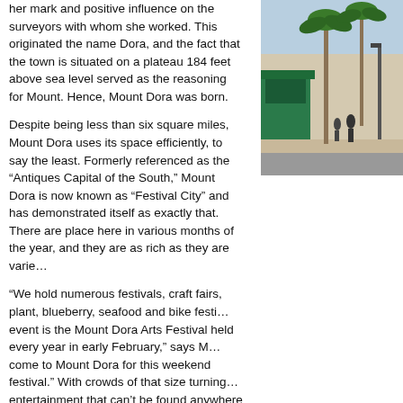her mark and positive influence on the surveyors with whom she worked. This originated the name Dora, and the fact that the town is situated on a plateau 184 feet above sea level served as the reasoning for Mount. Hence, Mount Dora was born.
[Figure (photo): Outdoor street scene in Mount Dora with palm trees and storefronts]
Despite being less than six square miles, Mount Dora uses its space efficiently, to say the least. Formerly referenced as the “Antiques Capital of the South,” Mount Dora is now known as “Festival City” and has demonstrated itself as exactly that. There are place here in various months of the year, and they are as rich as they are varie…
“We hold numerous festivals, craft fairs, plant, blueberry, seafood and bike festi… event is the Mount Dora Arts Festival held every year in early February,” says M… come to Mount Dora for this weekend festival.” With crowds of that size turning… entertainment that can’t be found anywhere else. Attendees will find no shortage… boasts over 250 artists and is juried, so the talent is always on display.
Vice Mayor Laurie Tillett loves that no matter the day or season, Mount Dora is… a Spring Show in March, blueberries are highlighted in May, and August brings… between the larger events are others: the Highland Games, monthly Art Splash… something to do, see and enjoy here.”
If you find yourself in town on a rare weekend without a festival, downtown Mou… every browser and buyer occupied. Make a stop at the expansive Renninger’s … knick-knacks in the state, or stop in at one of the many distinctive boutiques, lik… Whispering Winds gift shop. If you’re in need of that perfect piece for your h…